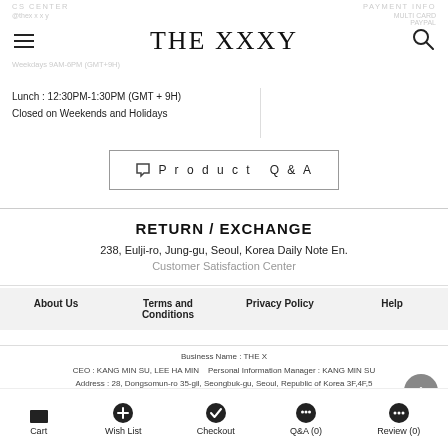THE XXXY
Lunch : 12:30PM-1:30PM (GMT + 9H)
Closed on Weekends and Holidays
Product Q&A
RETURN / EXCHANGE
238, Eulji-ro, Jung-gu, Seoul, Korea Daily Note En.
Customer Satisfaction Center
About Us    Terms and Conditions    Privacy Policy    Help
Business Name : THE X
CEO : KANG MIN SU, LEE HA MIN    Personal Information Manager : KANG MIN SU
Address : 28, Dongsomun-ro 35-gil, Seongbuk-gu, Seoul, Republic of Korea 3F,4F,5
Business Registration : 522-55-00039    E-Commerce Permit : 2016-Seongbuk-0753
Cart    Wish List    Checkout    Q&A (0)    Review (0)